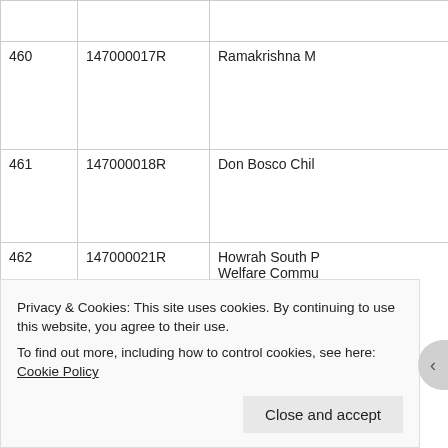|  | ID | Name |
| --- | --- | --- |
| 460 | 147000017R | Ramakrishna M... |
| 461 | 147000018R | Don Bosco Chi... |
| 462 | 147000021R | Howrah South R Welfare Commu Development C... |
| 463 | 147000022R | Peoples Institut Action |
| 464 | 147000023R | Sonatala Milan ... |
|  |  |  |
Privacy & Cookies: This site uses cookies. By continuing to use this website, you agree to their use.
To find out more, including how to control cookies, see here: Cookie Policy